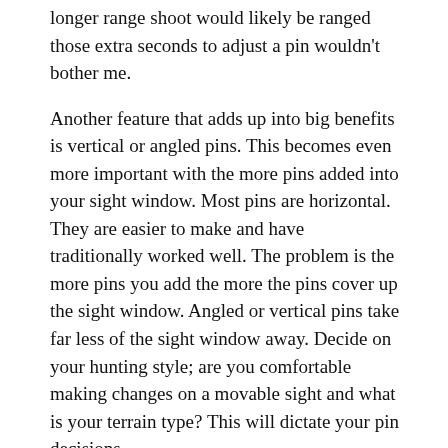longer range shoot would likely be ranged those extra seconds to adjust a pin wouldn't bother me.
Another feature that adds up into big benefits is vertical or angled pins. This becomes even more important with the more pins added into your sight window. Most pins are horizontal. They are easier to make and have traditionally worked well. The problem is the more pins you add the more the pins cover up the sight window. Angled or vertical pins take far less of the sight window away. Decide on your hunting style; are you comfortable making changes on a movable sight and what is your terrain type? This will dictate your pin decisions.
Little Features
Equal Big Deal
Some of the smallest features can make a big deal in archery accuracy. Many sights come with a level